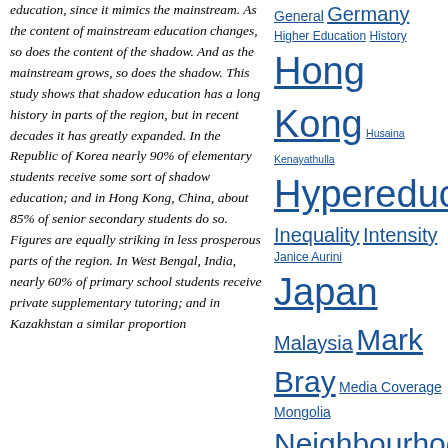education, since it mimics the mainstream. As the content of mainstream education changes, so does the content of the shadow. And as the mainstream grows, so does the shadow. This study shows that shadow education has a long history in parts of the region, but in recent decades it has greatly expanded. In the Republic of Korea nearly 90% of elementary students receive some sort of shadow education; and in Hong Kong, China, about 85% of senior secondary students do so. Figures are equally striking in less prosperous parts of the region. In West Bengal, India, nearly 60% of primary school students receive private supplementary tutoring; and in Kazakhstan a similar proportion
General Germany Higher Education History Hong Kong Husaina Kenayathulla Hypereducation Inequality Intensity Janice Aurini Japan Malaysia Mark Bray Media Coverage Mongolia Neighbourhoods and Social Setting PISA Press and Media Private Education Scott Davies Social Media Social Relations in the Classroom